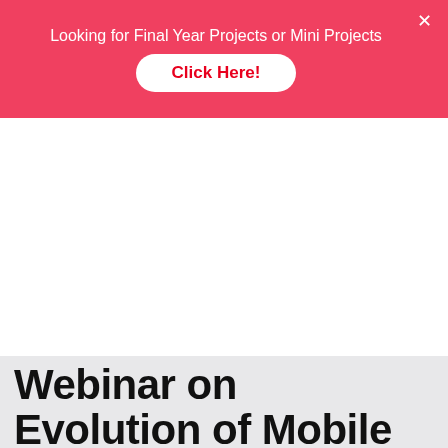Looking for Final Year Projects or Mini Projects
Click Here!
Online Store – 8925533488 /89   Chennai – 8925533480 /81
Hyderabad – 8925533482 /83
Vijayawada –8925533484 /85   Covai – 8925533486 /87
[Figure (logo): Pantech e Learning logo with red arrow icon and tagline DIGITAL LEARNING SIMPLIFIED]
Search here...
Webinar on Evolution of Mobile Wireless Network-